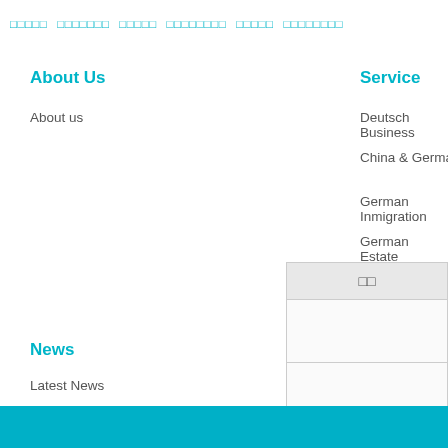□□□□□  □□□□□□□  □□□□□  □□□□□□□□  □□□□□  □□□□□□□□
About Us
About us
Service
Deutsch Business
China & German Enterprise Cooperation & Merge
German Inmigration
German Estate Investment
Trademark & Domain Register &
Studying aboard
News
Latest News
Company News
Industry Information
Contact
Contact us
Message
[Figure (other): Popup/widget box with header showing two squares (□□) and three empty rows below]